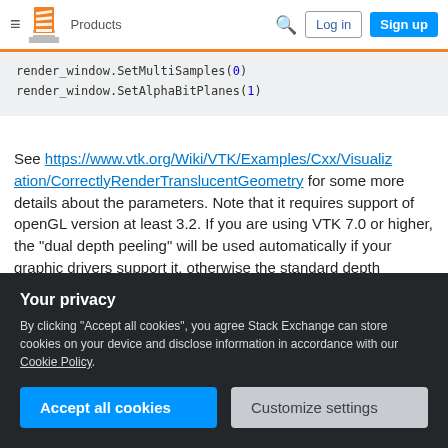≡ [Stack Overflow logo] Products 🔍 Log in Sign up
render_window.SetMultiSamples(0)
render_window.SetAlphaBitPlanes(1)
See https://www.vtk.org/Wiki/VTK/Examples/Cxx/Visualization/CorrectlyRenderTranslucentGeometry for some more details about the parameters. Note that it requires support of openGL version at least 3.2. If you are using VTK 7.0 or higher, the "dual depth peeling" will be used automatically if your graphic drivers support it, otherwise the standard depth
Your privacy
By clicking "Accept all cookies", you agree Stack Exchange can store cookies on your device and disclose information in accordance with our Cookie Policy.
Accept all cookies
Customize settings